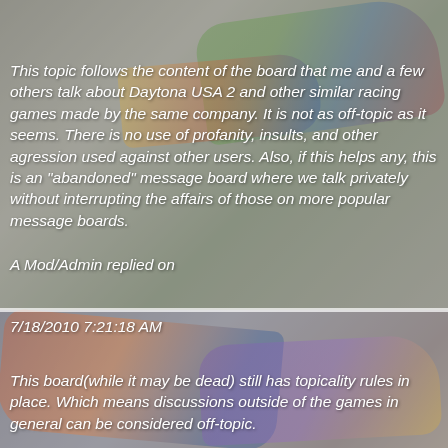[Figure (photo): Background photo of racing car(s) with colorful livery, partially visible, used as page background in two sections separated by a white divider line.]
This topic follows the content of the board that me and a few others talk about Daytona USA 2 and other similar racing games made by the same company. It is not as off-topic as it seems. There is no use of profanity, insults, and other agression used against other users. Also, if this helps any, this is an "abandoned" message board where we talk privately without interrupting the affairs of those on more popular message boards.
A Mod/Admin replied on
7/18/2010 7:21:18 AM
This board(while it may be dead) still has topicality rules in place. Which means discussions outside of the games in general can be considered off-topic.